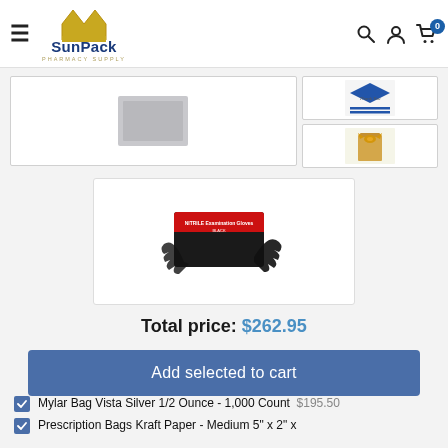[Figure (logo): SunPack Pharmacy Supply logo with gold crown and blue text]
[Figure (photo): Silver mylar bag product thumbnail]
[Figure (photo): Thank You prescription bag product thumbnail]
[Figure (photo): Kraft paper bag product thumbnail]
[Figure (photo): Black nitrile examination gloves in red/black box]
Total price: $262.95
Add selected to cart
Mylar Bag Vista Silver 1/2 Ounce - 1,000 Count  $195.50
Prescription Bags Kraft Paper - Medium 5" x 2" x